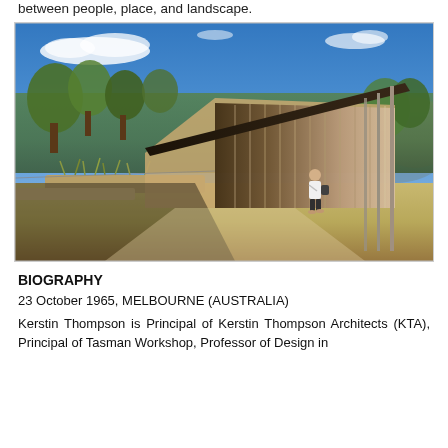between people, place, and landscape.
[Figure (photo): Exterior photograph of a contemporary building with a dramatically sloping mono-pitched roof supported by tall slender columns, surrounded by native Australian landscaping with grasses and trees, under a blue sky. A person with a bag walks along a path in the foreground.]
BIOGRAPHY
23 October 1965, MELBOURNE (AUSTRALIA)
Kerstin Thompson is Principal of Kerstin Thompson Architects (KTA), Principal of Tasman Workshop, Professor of Design in